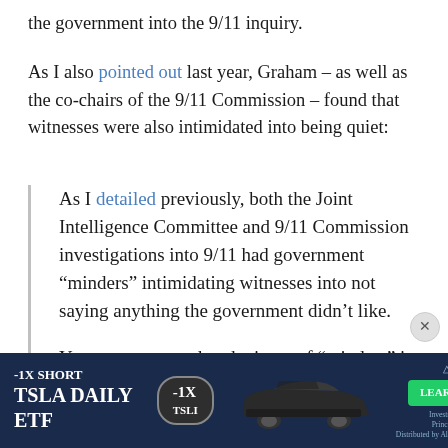the government into the 9/11 inquiry.
As I also pointed out last year, Graham – as well as the co-chairs of the 9/11 Commission – found that witnesses were also intimidated into being quiet:
As I detailed previously, both the Joint Intelligence Committee and 9/11 Commission investigations into 9/11 had government “minders” intimidating witnesses into not saying anything the government didn’t like.

You may assume that the issue of “minders” is overblown, and is not really that important.
[Figure (other): Advertisement banner for -1X Short TSLA Daily ETF (TSLI) by GraniteShares with a Learn More button and Tesla car image]